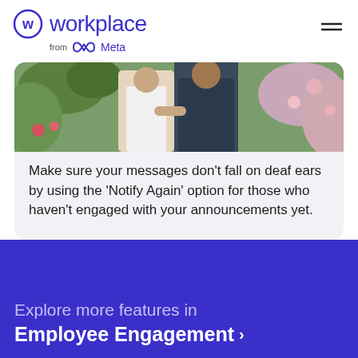Workplace from Meta
[Figure (photo): Photo of two people in a plant shop or florist, one appears to be showing something on a phone or device]
Make sure your messages don't fall on deaf ears by using the 'Notify Again' option for those who haven't engaged with your announcements yet.
Explore more features in
Employee Engagement